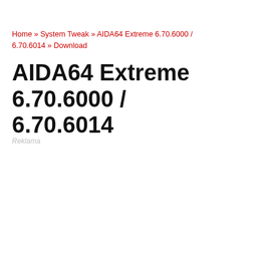Home » System Tweak » AIDA64 Extreme 6.70.6000 / 6.70.6014 » Download
AIDA64 Extreme 6.70.6000 / 6.70.6014
Reklama